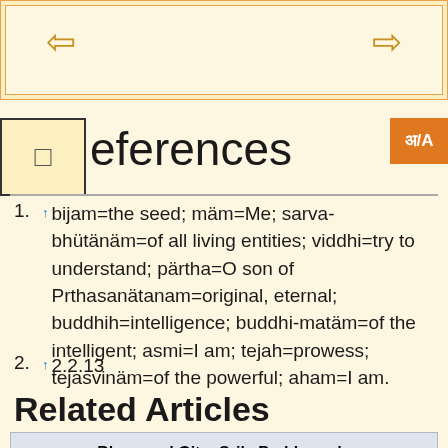[Figure (screenshot): Navigation bar with left and right arrow buttons on a pale yellow background with orange border]
References
↑ bijam=the seed; mäm=Me; sarva-bhütänäm=of all living entities; viddhi=try to understand; pärtha=O son of Prthasanätanam=original, eternal; buddhih=intelligence; buddhi-matäm=of the intelligent; asmi=I am; tejah=prowess; tejasvinäm=of the powerful; aham=I am.
↑ 2.2.13
Related Articles
Bhagavad Gita -Srila Prabhupada